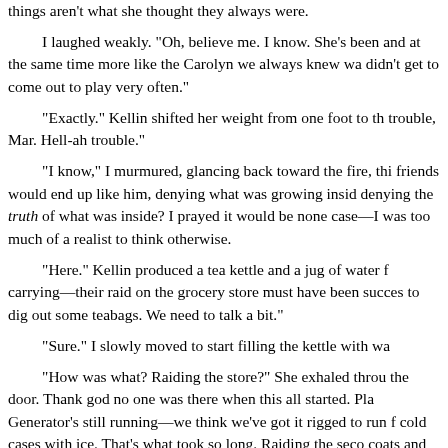things aren't what she thought they always were.

I laughed weakly. "Oh, believe me. I know. She's been and at the same time more like the Carolyn we always knew wa didn't get to come out to play very often."

"Exactly." Kellin shifted her weight from one foot to th trouble, Mar. Hell-ah trouble."

"I know," I murmured, glancing back toward the fire, thi friends would end up like him, denying what was growing insid denying the truth of what was inside? I prayed it would be none case—I was too much of a realist to think otherwise.

"Here." Kellin produced a tea kettle and a jug of water f carrying—their raid on the grocery store must have been succes to dig out some teabags. We need to talk a bit."

"Sure." I slowly moved to start filling the kettle with wa

"How was what? Raiding the store?" She exhaled throu the door. Thank god no one was there when this all started. Pla Generator's still running—we think we've got it rigged to run f cold cases with ice. That's what took so long. Raiding the seco coats and stuff. But I'll tell you about it after I get this stuff stas